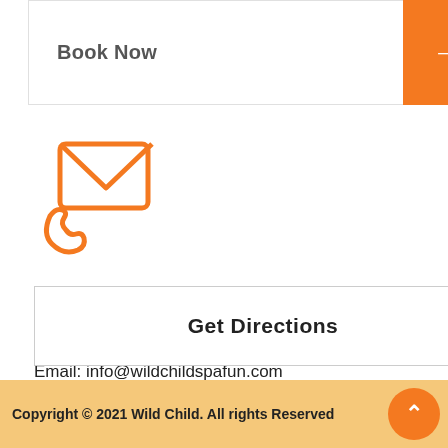Book Now →
[Figure (illustration): Orange icon of an envelope with a phone/hand beneath it, representing contact (email and phone)]
Contact Us
Phone: 7577728503
Email: info@wildchildspafun.com
19 N Mallory St, Hampton, VA 23663
Get Directions
Copyright © 2021 Wild Child. All rights Reserved